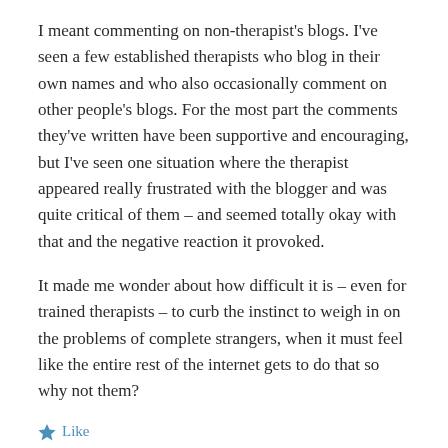I meant commenting on non-therapist's blogs. I've seen a few established therapists who blog in their own names and who also occasionally comment on other people's blogs. For the most part the comments they've written have been supportive and encouraging, but I've seen one situation where the therapist appeared really frustrated with the blogger and was quite critical of them – and seemed totally okay with that and the negative reaction it provoked.
It made me wonder about how difficult it is – even for trained therapists – to curb the instinct to weigh in on the problems of complete strangers, when it must feel like the entire rest of the internet gets to do that so why not them?
★ Like